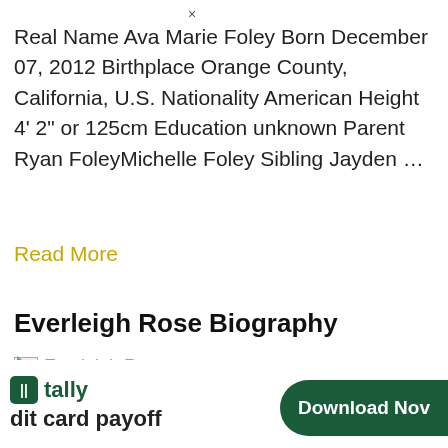Real Name Ava Marie Foley Born December 07, 2012 Birthplace Orange County, California, U.S. Nationality American Height 4' 2" or 125cm Education unknown Parent Ryan FoleyMichelle Foley Sibling Jayden ...
Read More
Everleigh Rose Biography
[Figure (photo): Broken image placeholder for Everleigh Rose photo with yellow alt text label]
[Figure (infographic): Tally app advertisement banner with dark green background button saying Download Now and tally logo with text about credit card payoff]